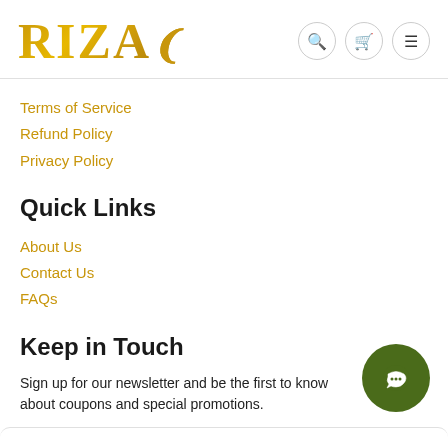RIZA
Terms of Service
Refund Policy
Privacy Policy
Quick Links
About Us
Contact Us
FAQs
Keep in Touch
Sign up for our newsletter and be the first to know about coupons and special promotions.